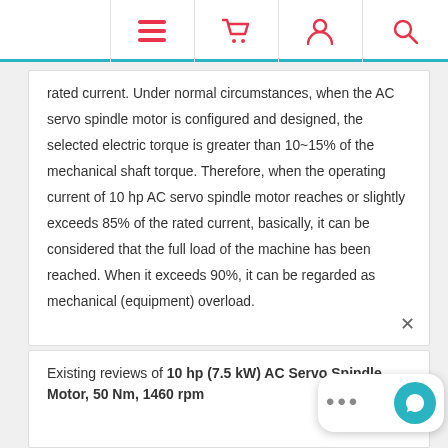Navigation bar with menu, cart, account, and search icons
rated current. Under normal circumstances, when the AC servo spindle motor is configured and designed, the selected electric torque is greater than 10~15% of the mechanical shaft torque. Therefore, when the operating current of 10 hp AC servo spindle motor reaches or slightly exceeds 85% of the rated current, basically, it can be considered that the full load of the machine has been reached. When it exceeds 90%, it can be regarded as mechanical (equipment) overload.
Existing reviews of 10 hp (7.5 kW) AC Servo Spindle Motor, 50 Nm, 1460 rpm